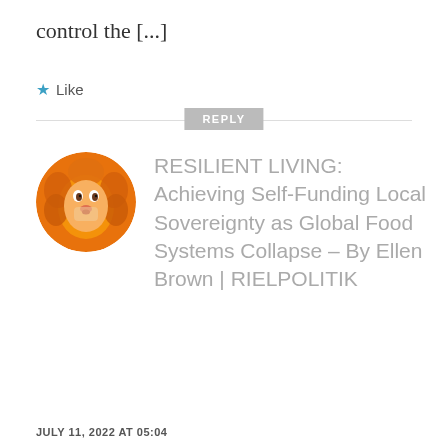control the [...]
★ Like
REPLY
[Figure (illustration): Circular avatar image with an orange illustrated face/lion artwork]
RESILIENT LIVING: Achieving Self-Funding Local Sovereignty as Global Food Systems Collapse – By Ellen Brown | RIELPOLITIK
JULY 11, 2022 AT 05:04